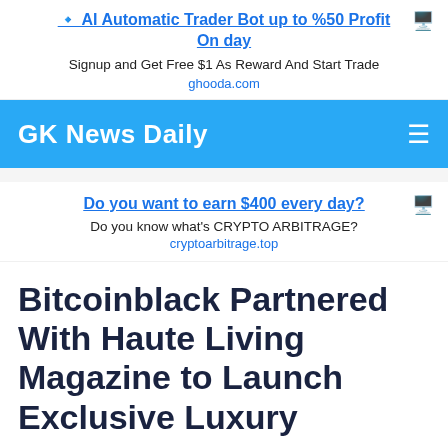[Figure (infographic): Advertisement banner: AI Automatic Trader Bot up to %50 Profit On day. Signup and Get Free $1 As Reward And Start Trade. ghooda.com]
GK News Daily
[Figure (infographic): Advertisement: Do you want to earn $400 every day? Do you know what's CRYPTO ARBITRAGE? cryptoarbitrage.top]
Bitcoinblack Partnered With Haute Living Magazine to Launch Exclusive Luxury